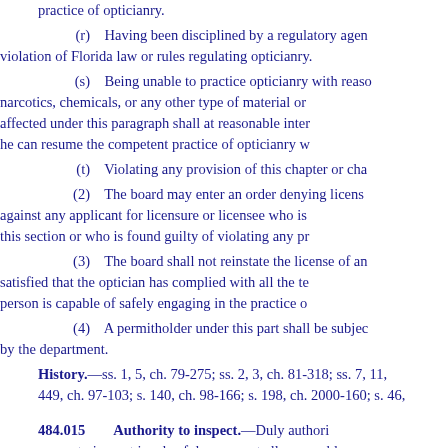practice of opticianry.
(r)    Having been disciplined by a regulatory agency violation of Florida law or rules regulating opticianry.
(s)    Being unable to practice opticianry with reason narcotics, chemicals, or any other type of material or affected under this paragraph shall at reasonable intervals he can resume the competent practice of opticianry w
(t)    Violating any provision of this chapter or cha
(2)    The board may enter an order denying license against any applicant for licensure or licensee who is this section or who is found guilty of violating any pr
(3)    The board shall not reinstate the license of an satisfied that the optician has complied with all the te person is capable of safely engaging in the practice o
(4)    A permitholder under this part shall be subject by the department.
History.—ss. 1, 5, ch. 79-275; ss. 2, 3, ch. 81-318; ss. 7, 11, 449, ch. 97-103; s. 140, ch. 98-166; s. 198, ch. 2000-160; s. 46,
484.015    Authority to inspect.
—Duly authorized power to inspect in a lawful manner at all reasonable lenses, spectacles, eyeglasses, contact lenses, and any purposes of: